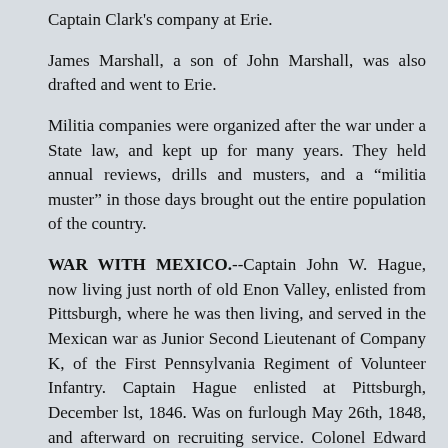Captain Clark's company at Erie.
James Marshall, a son of John Marshall, was also drafted and went to Erie.
Militia companies were organized after the war under a State law, and kept up for many years. They held annual reviews, drills and musters, and a "militia muster" in those days brought out the entire population of the country.
WAR WITH MEXICO.--Captain John W. Hague, now living just north of old Enon Valley, enlisted from Pittsburgh, where he was then living, and served in the Mexican war as Junior Second Lieutenant of Company K, of the First Pennsylvania Regiment of Volunteer Infantry. Captain Hague enlisted at Pittsburgh, December lst, 1846. Was on furlough May 26th, 1848, and afterward on recruiting service. Colonel Edward O'Brien, now of New Castle, was a volunteer in the Second Regiment, and